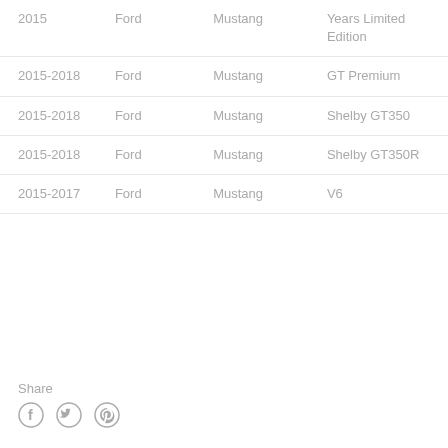| Year | Make | Model | Trim |
| --- | --- | --- | --- |
| 2015 | Ford | Mustang | Years Limited Edition |
| 2015-2018 | Ford | Mustang | GT Premium |
| 2015-2018 | Ford | Mustang | Shelby GT350 |
| 2015-2018 | Ford | Mustang | Shelby GT350R |
| 2015-2017 | Ford | Mustang | V6 |
Share
[Figure (other): Social share icons: Facebook, Twitter, Pinterest]